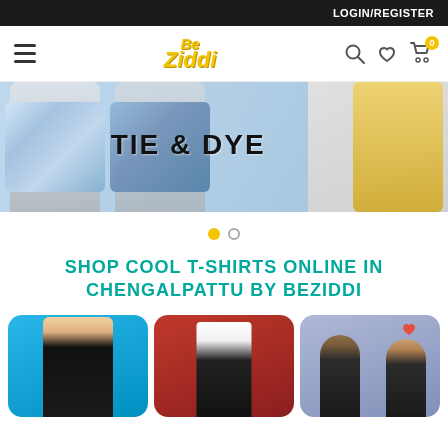LOGIN/REGISTER
[Figure (logo): BeZiddi logo in yellow italic bold font]
[Figure (photo): Hero banner showing men in tie and dye shirts with text TIE & DYE]
[Figure (infographic): Carousel dot indicators: one active yellow dot and one inactive outline dot]
SHOP COOL T-SHIRTS ONLINE IN CHENGALPATTU BY BEZIDDI
[Figure (photo): Product category card with man in black t-shirt on blue background]
[Figure (photo): Product category card with person in dark jeans on red background]
[Figure (illustration): Product category card with cartoon couple illustration on purple background with heart]